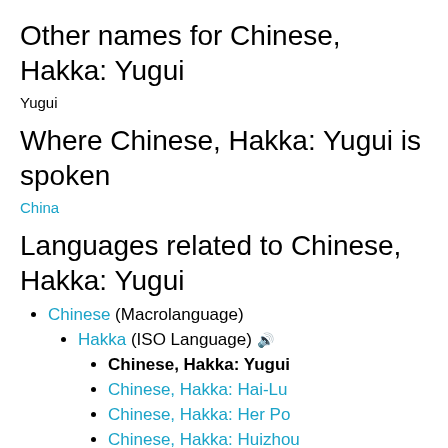Other names for Chinese, Hakka: Yugui
Yugui
Where Chinese, Hakka: Yugui is spoken
China
Languages related to Chinese, Hakka: Yugui
Chinese (Macrolanguage)
Hakka (ISO Language) 🔊
Chinese, Hakka: Yugui
Chinese, Hakka: Hai-Lu
Chinese, Hakka: Her Po
Chinese, Hakka: Huizhou